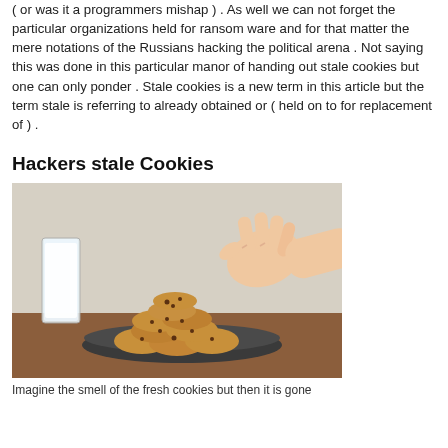( or was it a programmers mishap ) . As well we can not forget the particular organizations held for ransom ware and for that matter the mere notations of the Russians hacking the political arena . Not saying this was done in this particular manor of handing out stale cookies but one can only ponder . Stale cookies is a new term in this article but the term stale is referring to already obtained or ( held on to for replacement of ) .
Hackers stale Cookies
[Figure (photo): A photo of a hand reaching down to grab cookies from a plate stacked with chocolate chip cookies, with a glass of milk on the left, on a wooden table.]
Imagine the smell of the fresh cookies but then it is gone